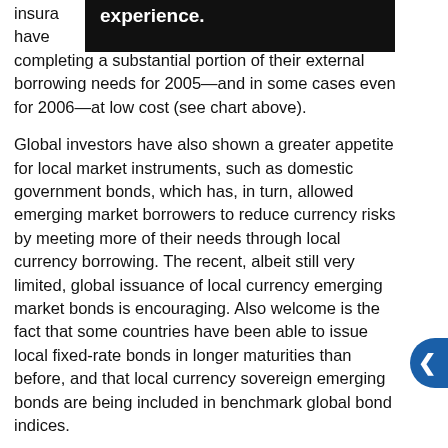insura experience. have completing a substantial portion of their external borrowing needs for 2005—and in some cases even for 2006—at low cost (see chart above).
Global investors have also shown a greater appetite for local market instruments, such as domestic government bonds, which has, in turn, allowed emerging market borrowers to reduce currency risks by meeting more of their needs through local currency borrowing. The recent, albeit still very limited, global issuance of local currency emerging market bonds is encouraging. Also welcome is the fact that some countries have been able to issue local fixed-rate bonds in longer maturities than before, and that local currency sovereign emerging bonds are being included in benchmark global bond indices.
Tight valuations leave downside risks
The recent period of high liquidity and low volatility